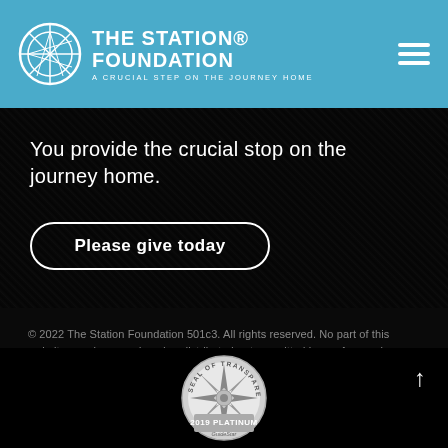THE STATION FOUNDATION — A Crucial Step on the Journey Home
You provide the crucial stop on the journey home.
Please give today
© 2022 The Station Foundation 501c3. All rights reserved. No part of this website may be reproduced, redistributed or transmitted in any form or by any means, electronic, mechanical or otherwise, without the prior written permission of The Station Foundation. Transparency of Coverage  |  Privacy Policy
[Figure (logo): GuideStar 2019 Platinum Seal of Transparency badge]